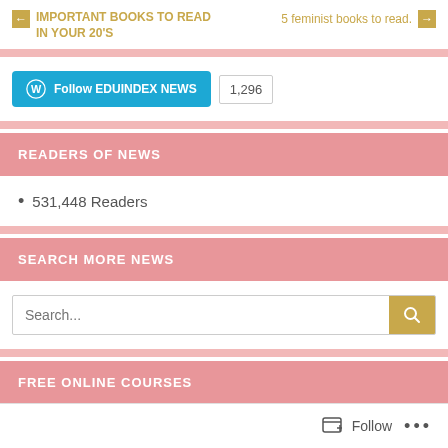← IMPORTANT BOOKS TO READ IN YOUR 20'S   5 feminist books to read. →
[Figure (screenshot): Follow EDUINDEX NEWS WordPress follow button with 1,296 count badge]
READERS OF NEWS
531,448 Readers
SEARCH MORE NEWS
[Figure (screenshot): Search input box with search button]
FREE ONLINE COURSES
Advertisements
Follow  ...